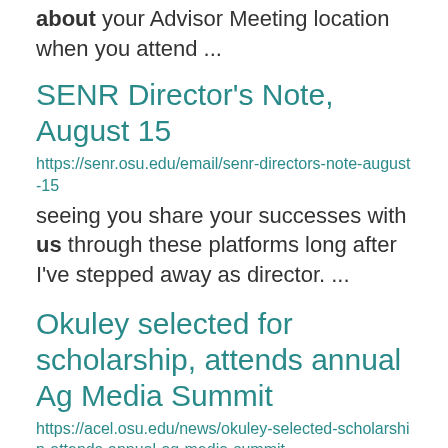about your Advisor Meeting location when you attend ...
SENR Director's Note, August 15
https://senr.osu.edu/email/senr-directors-note-august-15
seeing you share your successes with us through these platforms long after I've stepped away as director. ...
Okuley selected for scholarship, attends annual Ag Media Summit
https://acel.osu.edu/news/okuley-selected-scholarship-attends-annual-ag-media-summit
through the Livestock Publications Council (LPC) Student Award Program as a finalist ...